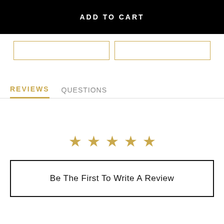ADD TO CART
[Figure (other): Two empty outlined buttons side by side with gold borders]
REVIEWS   QUESTIONS
[Figure (other): Five gold star rating icons]
Be The First To Write A Review